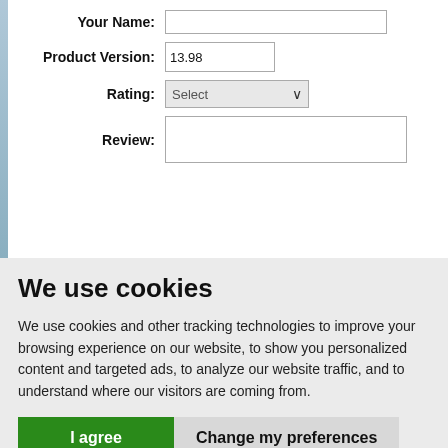[Figure (screenshot): Web form showing fields: Your Name (text input), Product Version (13.98), Rating (Select dropdown), Review (textarea)]
We use cookies
We use cookies and other tracking technologies to improve your browsing experience on our website, to show you personalized content and targeted ads, to analyze our website traffic, and to understand where our visitors are coming from.
I agree | Change my preferences